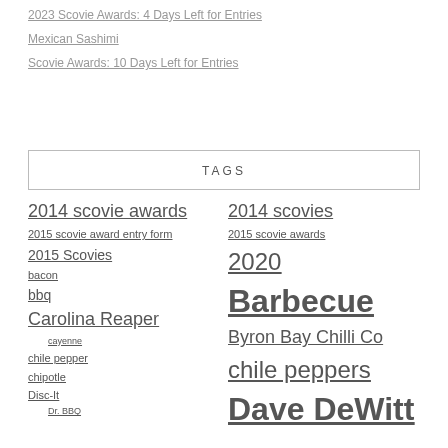2023 Scovie Awards: 4 Days Left for Entries
Mexican Sashimi
Scovie Awards: 10 Days Left for Entries
TAGS
2014 scovie awards
2014 scovies
2015 scovie award entry form
2015 scovie awards
2015 Scovies
2020
bacon
Barbecue
bbq
Byron Bay Chilli Co
Carolina Reaper
cayenne
chile peppers
chile pepper
chipotle
Dave DeWitt
Disc-It
Dr. BBQ